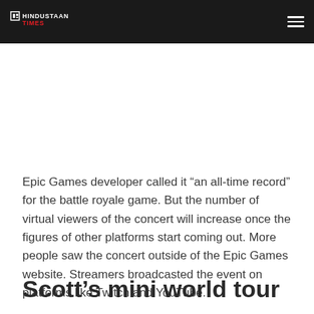Hindustaan Times
[Figure (other): Advertisement or blank white space area below the header]
Epic Games developer called it “an all-time record” for the battle royale game. But the number of virtual viewers of the concert will increase once the figures of other platforms start coming out. More people saw the concert outside of the Epic Games website. Streamers broadcasted the event on platforms like Twitch and YouTube.
Scott’s mini world tour